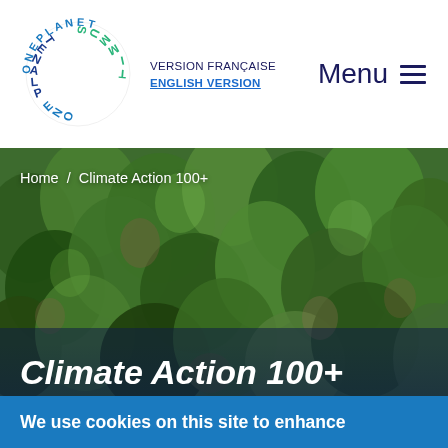[Figure (logo): One Planet Summit circular logo with letters arranged in a circle, blue and green colors]
VERSION FRANÇAISE
ENGLISH VERSION
Menu ≡
[Figure (photo): Aerial view of a dense green forest with tree canopies, various shades of green]
Home / Climate Action 100+
Climate Action 100+
We use cookies on this site to enhance